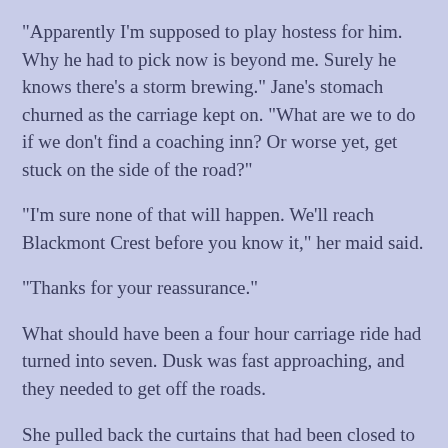"Apparently I'm supposed to play hostess for him. Why he had to pick now is beyond me. Surely he knows there's a storm brewing." Jane's stomach churned as the carriage kept on. "What are we to do if we don't find a coaching inn? Or worse yet, get stuck on the side of the road?"
"I'm sure none of that will happen. We'll reach Blackmont Crest before you know it," her maid said.
"Thanks for your reassurance."
What should have been a four hour carriage ride had turned into seven. Dusk was fast approaching, and they needed to get off the roads.
She pulled back the curtains that had been closed to keep the cold out. "We're almost there," she said.
"How long will we be here?" Sara inquired.
"A fortnight, Henry said."